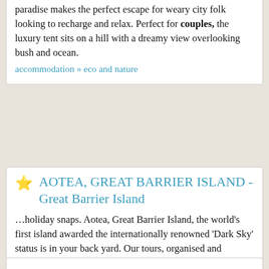paradise makes the perfect escape for weary city folk looking to recharge and relax. Perfect for couples, the luxury tent sits on a hill with a dreamy view overlooking bush and ocean.
accommodation » eco and nature
AOTEA, GREAT BARRIER ISLAND - Great Barrier Island
…holiday snaps. Aotea, Great Barrier Island, the world's first island awarded the internationally renowned 'Dark Sky' status is in your back yard. Our tours, organised and bespoke all offer the same beauty in their experience. Couples, friends, groups, families, individuals, or corporate retreat.
tours » gay and lesbian tours